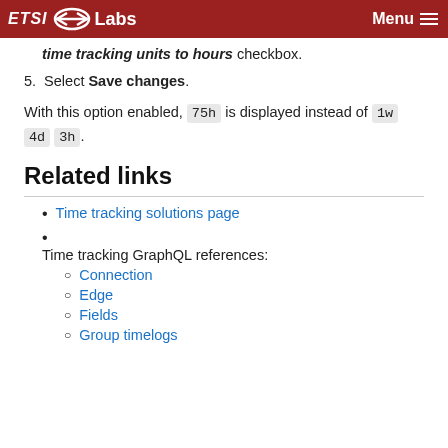ETSI Labs | Menu
time tracking units to hours checkbox.
5. Select Save changes.
With this option enabled, 75h is displayed instead of 1w 4d 3h.
Related links
Time tracking solutions page
Time tracking GraphQL references:
Connection
Edge
Fields
Group timelogs